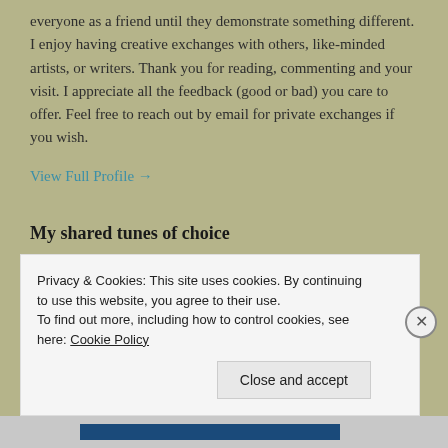everyone as a friend until they demonstrate something different. I enjoy having creative exchanges with others, like-minded artists, or writers. Thank you for reading, commenting and your visit. I appreciate all the feedback (good or bad) you care to offer. Feel free to reach out by email for private exchanges if you wish.
View Full Profile →
My shared tunes of choice
Privacy & Cookies: This site uses cookies. By continuing to use this website, you agree to their use. To find out more, including how to control cookies, see here: Cookie Policy
Close and accept